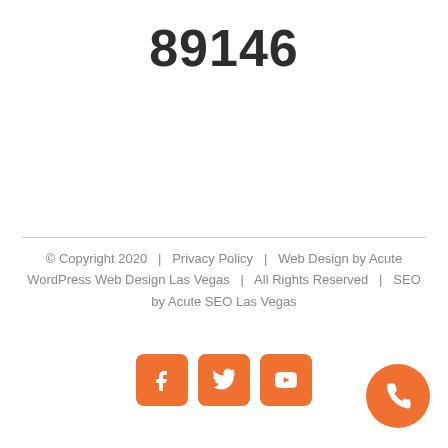89146
© Copyright 2020  |  Privacy Policy  |  Web Design by Acute WordPress Web Design Las Vegas  |  All Rights Reserved  |  SEO by Acute SEO Las Vegas
[Figure (other): Social media icon buttons: Facebook, Twitter, YouTube (orange rounded squares) and an orange circular phone/call button in the bottom right corner]